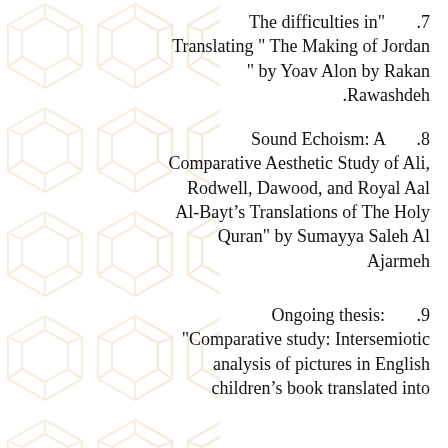.7  The difficulties in" Translating " The Making of Jordan " by Yoav Alon by Rakan .Rawashdeh
.8  Sound Echoism: A Comparative Aesthetic Study of Ali, Rodwell, Dawood, and Royal Aal Al-Bayt’s Translations of The Holy Quran" by Sumayya Saleh Al Ajarmeh
.9  Ongoing thesis: "Comparative study: Intersemiotic analysis of pictures in English children’s book translated into